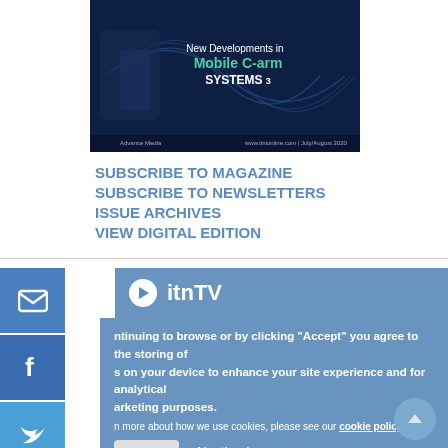[Figure (photo): Magazine cover for ITN showing 'New Developments in Mobile C-arm SYSTEMS 3' with dark blue background and glowing wave design]
SUBSCRIBE TO MAGAZINE
SUBSCRIBE TO NEWSLETTERS
ISSUE ARCHIVES
VIEW DIGITAL EDITION
itnTV
ntinuing to browse or by clicking "Accept" you agree to the storing of s on your device to enhance your site experience and for analytical arketing purposes.
n more about how we use cookies, please see our cookie policy.
agree   No, thanks